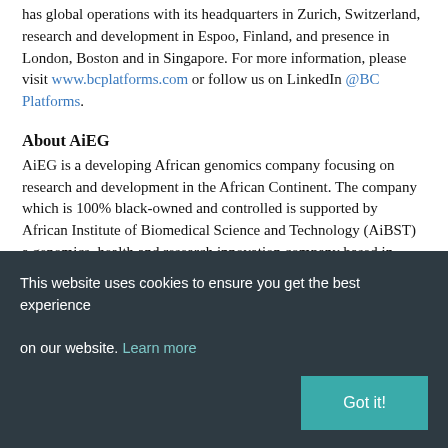has global operations with its headquarters in Zurich, Switzerland, research and development in Espoo, Finland, and presence in London, Boston and in Singapore. For more information, please visit www.bcplatforms.com or follow us on LinkedIn @BC Platforms.
About AiEG
AiEG is a developing African genomics company focusing on research and development in the African Continent. The company which is 100% black-owned and controlled is supported by African Institute of Biomedical Science and Technology (AiBST) a genomics, health and research innovation company based in Zimbabwe and South Africa. By way of the correct market timing,
This website uses cookies to ensure you get the best experience on our website. Learn more
Got it!